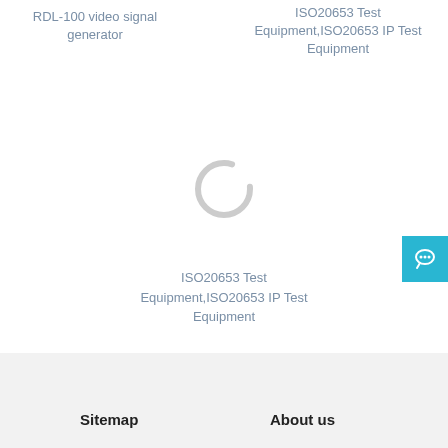RDL-100 video signal generator
ISO20653 Test Equipment,ISO20653 IP Test Equipment
[Figure (other): Loading spinner ring — a circular ring graphic indicating content is loading, rendered in light gray]
ISO20653 Test Equipment,ISO20653 IP Test Equipment
[Figure (other): Blue square chat/message button icon in bottom right corner]
Sitemap   About us